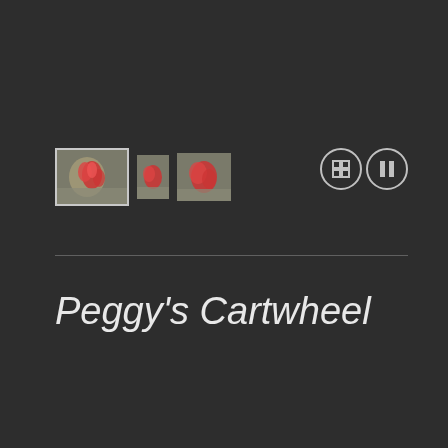[Figure (screenshot): A UI panel showing a media/photo thumbnail strip with three thumbnail images of a flower (red flower on stone background), the first being selected with a white border, plus two control buttons (grid/fullscreen icon and pause icon) on the right side, followed by a horizontal divider line.]
Peggy's Cartwheel